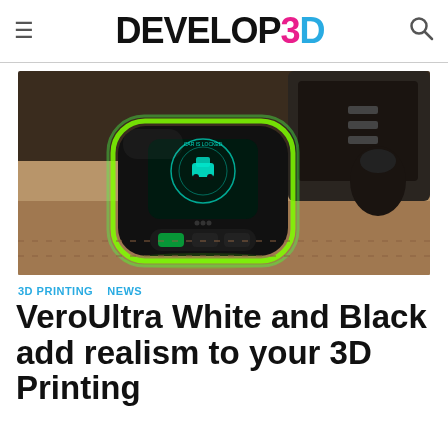DEVELOP3D
[Figure (photo): A futuristic car key fob with green glowing edges and a digital display showing a car icon and 'CAR IS LOCKED', resting on tan leather car interior]
3D PRINTING   NEWS
VeroUltra White and Black add realism to your 3D Printing